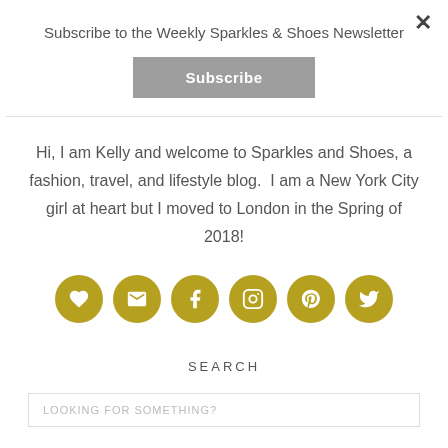×
Subscribe to the Weekly Sparkles & Shoes Newsletter
[Figure (other): Subscribe button — grey rectangular button with white text reading 'Subscribe']
Hi, I am Kelly and welcome to Sparkles and Shoes, a fashion, travel, and lifestyle blog.  I am a New York City girl at heart but I moved to London in the Spring of 2018!
[Figure (infographic): Six gold circular social media icons: heart/Bloglovin, email/envelope, Facebook, Instagram, Pinterest, Twitter]
SEARCH
LOOKING FOR SOMETHING?